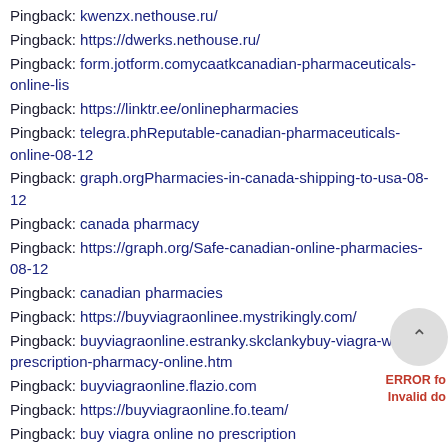Pingback: kwenzx.nethouse.ru/
Pingback: https://dwerks.nethouse.ru/
Pingback: form.jotform.comycaatkcanadian-pharmaceuticals-online-lis
Pingback: https://linktr.ee/onlinepharmacies
Pingback: telegra.phReputable-canadian-pharmaceuticals-online-08-12
Pingback: graph.orgPharmacies-in-canada-shipping-to-usa-08-12
Pingback: canada pharmacy
Pingback: https://graph.org/Safe-canadian-online-pharmacies-08-12
Pingback: canadian pharmacies
Pingback: https://buyviagraonlinee.mystrikingly.com/
Pingback: buyviagraonline.estranky.skclankybuy-viagra-without-prescription-pharmacy-online.htm
Pingback: buyviagraonline.flazio.com
Pingback: https://buyviagraonline.fo.team/
Pingback: buy viagra online no prescription